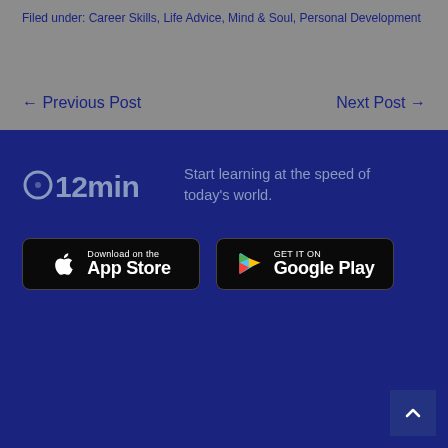Filed under: Career Skills, Life Advice, Mind & Soul, Personal Development
← Previous Post
Next Post →
[Figure (logo): 12min app logo — circle icon with '12min' text in muted blue-gray on dark navy background]
Start learning at the speed of today's world.
[Figure (screenshot): Download on the App Store button — black rounded rectangle with Apple logo and text]
[Figure (screenshot): GET IT ON Google Play button — black rounded rectangle with Google Play triangle logo and text]